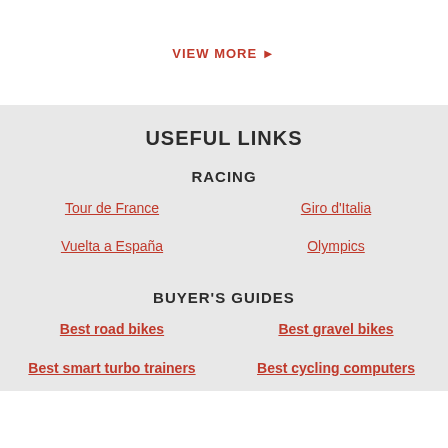VIEW MORE ▶
USEFUL LINKS
RACING
Tour de France
Giro d'Italia
Vuelta a España
Olympics
BUYER'S GUIDES
Best road bikes
Best gravel bikes
Best smart turbo trainers
Best cycling computers